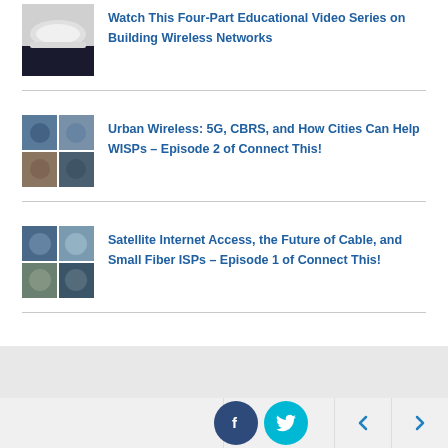[Figure (photo): Thumbnail image of a hard hat / construction helmet on dark background]
Watch This Four-Part Educational Video Series on Building Wireless Networks
[Figure (photo): Thumbnail image of video call grid with multiple participants]
Urban Wireless: 5G, CBRS, and How Cities Can Help WISPs – Episode 2 of Connect This!
[Figure (photo): Thumbnail image of video call grid with participants in home settings]
Satellite Internet Access, the Future of Cable, and Small Fiber ISPs – Episode 1 of Connect This!
Social share buttons (Facebook, Twitter) and navigation arrows